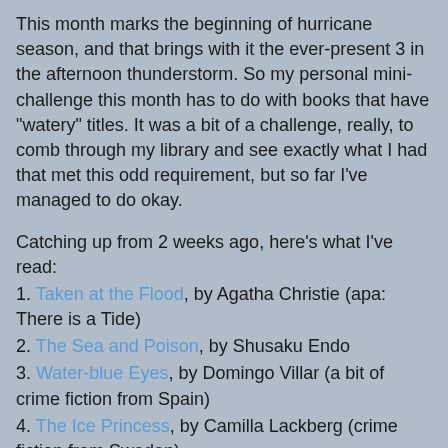This month marks the beginning of hurricane season, and that brings with it the ever-present 3 in the afternoon thunderstorm. So my personal mini-challenge this month has to do with books that have "watery" titles. It was a bit of a challenge, really, to comb through my library and see exactly what I had that met this odd requirement, but so far I've managed to do okay.
Catching up from 2 weeks ago, here's what I've read:
1. Taken at the Flood, by Agatha Christie (apa: There is a Tide)
2. The Sea and Poison, by Shusaku Endo
3. Water-blue Eyes, by Domingo Villar (a bit of crime fiction from Spain)
4. The Ice Princess, by Camilla Lackberg (crime fiction from Sweden)
5. Zeitoun, by Dave Eggers (not a "watery" title, but a book about Hurricane Katrina - and my favorite this week)
6. The Secret of Chimneys, by Agatha Christie (again...not watery but well, I wanted to read it)
Currently I've just finished